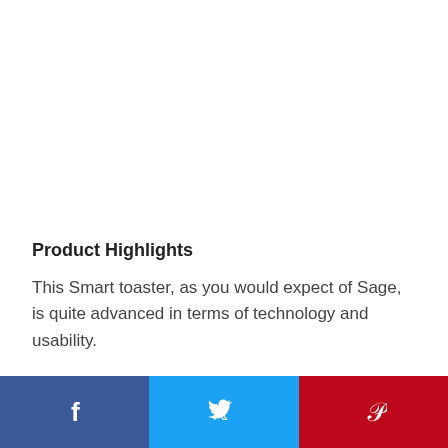Product Highlights
This Smart toaster, as you would expect of Sage, is quite advanced in terms of technology and usability.
Features
[Figure (infographic): Social sharing bar with three buttons: Facebook (dark blue), Twitter (light blue), Pinterest (red), each showing the respective social media icon in white.]